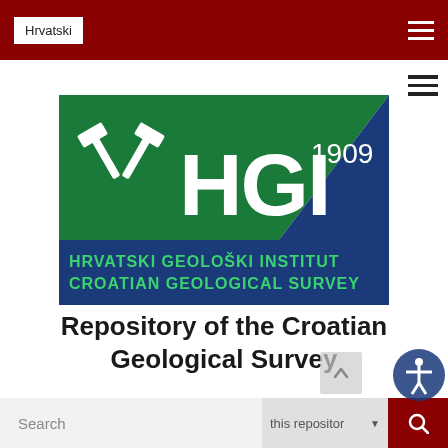Hrvatski
[Figure (logo): HGI 1909 - Hrvatski Geološki Institut / Croatian Geological Survey logo with two crossed hammers on green and blue background]
Repository of the Croatian Geological Survey
Search  this repository